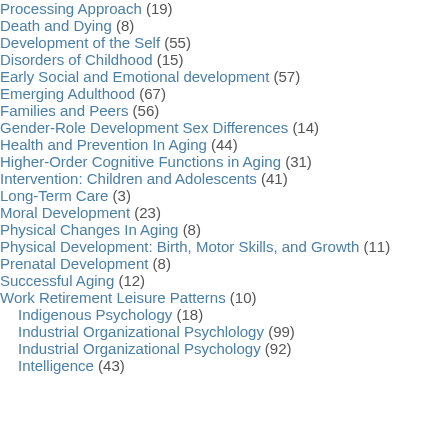Processing Approach (19)
Death and Dying (8)
Development of the Self (55)
Disorders of Childhood (15)
Early Social and Emotional development (57)
Emerging Adulthood (67)
Families and Peers (56)
Gender-Role Development Sex Differences (14)
Health and Prevention In Aging (44)
Higher-Order Cognitive Functions in Aging (31)
Intervention: Children and Adolescents (41)
Long-Term Care (3)
Moral Development (23)
Physical Changes In Aging (8)
Physical Development: Birth, Motor Skills, and Growth (11)
Prenatal Development (8)
Successful Aging (12)
Work Retirement Leisure Patterns (10)
Indigenous Psychology (18)
Industrial Organizational Psychlology (99)
Industrial Organizational Psychology (92)
Intelligence (43)